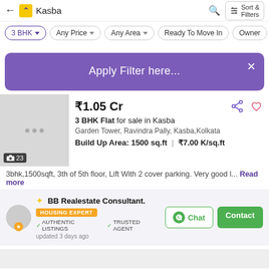← Kasba | Sort & Filters
3 BHK ▼  Any Price ▼  Any Area ▼  Ready To Move In  Owner
Apply Filter here...
₹1.05 Cr
3 BHK Flat for sale in Kasba
Garden Tower, Ravindra Pally, Kasba,Kolkata
Build Up Area: 1500 sq.ft  |  ₹7.00 K/sq.ft
3bhk,1500sqft, 3th of 5th floor, Lift With 2 cover parking. Very good l... Read more
BB Realestate Consultant.
HOUSING EXPERT
✓ AUTHENTIC LISTINGS  ✓ TRUSTED AGENT
updated 3 days ago